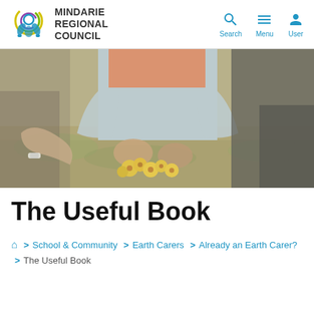Mindarie Regional Council — Search, Menu, User
[Figure (photo): Children planting or handling yellow flowers outdoors on grass/straw ground, wearing light blue and orange tops]
The Useful Book
🏠 > School & Community > Earth Carers > Already an Earth Carer? > The Useful Book